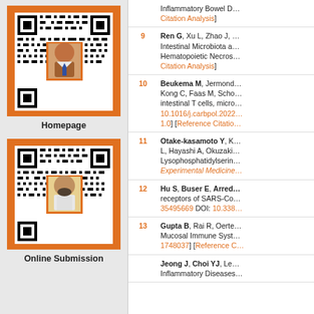[Figure (other): QR code with journal cover image overlay, orange border frame, labeled Homepage]
Homepage
[Figure (other): QR code with person photo overlay, orange border frame, labeled Online Submission]
Online Submission
| # | Reference |
| --- | --- |
|  | Inflammatory Bowel D… Citation Analysis] |
| 9 | Ren G, Xu L, Zhao J, … Intestinal Microbiota a… Hematopoietic Necros… Citation Analysis] |
| 10 | Beukema M, Jermond… Kong C, Faas M, Scho… intestinal T cells, micro… 10.1016/j.carbpol.2022… 1.0] [Reference Citatio… |
| 11 | Otake-kasamoto Y, K… L, Hayashi A, Okuzaki… Lysophosphatidylserin… Experimental Medicine… |
| 12 | Hu S, Buser E, Arred… receptors of SARS-Co… 35495669 DOI: 10.338… |
| 13 | Gupta B, Rai R, Oerte… Mucosal Immune Syst… 1748037] [Reference C… |
|  | Jeong J, Choi YJ, Le… Inflammatory Diseases… |